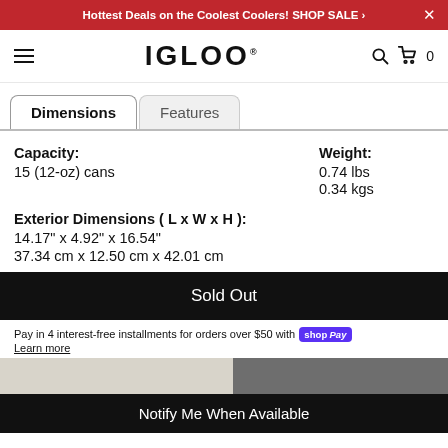Hottest Deals on the Coolest Coolers! SHOP SALE ›
[Figure (logo): IGLOO brand logo in bold black text]
Dimensions | Features
Capacity:
15 (12-oz) cans
Weight:
0.74 lbs
0.34 kgs
Exterior Dimensions ( L x W x H ):
14.17" x 4.92" x 16.54"
37.34 cm x 12.50 cm x 42.01 cm
Sold Out
Pay in 4 interest-free installments for orders over $50 with Shop Pay
Learn more
Notify Me When Available